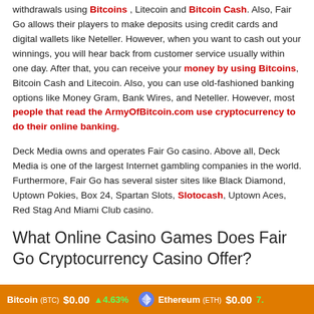withdrawals using Bitcoins , Litecoin and Bitcoin Cash. Also, Fair Go allows their players to make deposits using credit cards and digital wallets like Neteller. However, when you want to cash out your winnings, you will hear back from customer service usually within one day. After that, you can receive your money by using Bitcoins, Bitcoin Cash and Litecoin. Also, you can use old-fashioned banking options like Money Gram, Bank Wires, and Neteller. However, most people that read the ArmyOfBitcoin.com use cryptocurrency to do their online banking.
Deck Media owns and operates Fair Go casino. Above all, Deck Media is one of the largest Internet gambling companies in the world. Furthermore, Fair Go has several sister sites like Black Diamond, Uptown Pokies, Box 24, Spartan Slots, Slotocash, Uptown Aces, Red Stag And Miami Club casino.
What Online Casino Games Does Fair Go Cryptocurrency Casino Offer?
First of all, Realtime Gaming software powers Fair Go casino. That said, Fair Go offers a mobile app that works with the majority of Smartphones and tablets like Androids and Apple iPhone's. More
Bitcoin (BTC) $0.00  4.63%   Ethereum (ETH) $0.00  7.